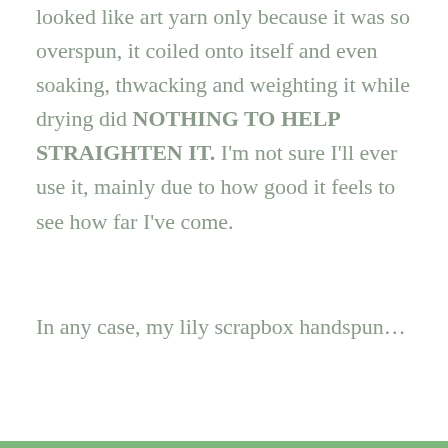looked like art yarn only because it was so overspun, it coiled onto itself and even soaking, thwacking and weighting it while drying did NOTHING TO HELP STRAIGHTEN IT. I'm not sure I'll ever use it, mainly due to how good it feels to see how far I've come.
In any case, my lily scrapbox handspun…